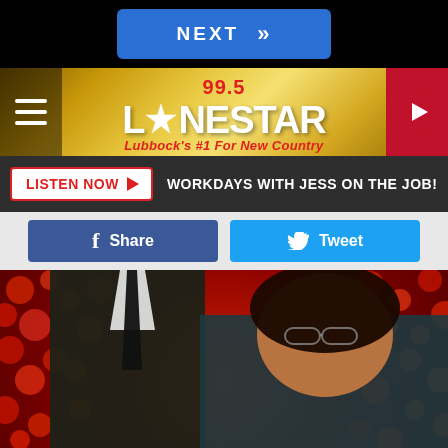NEXT »
[Figure (logo): 99.5 Lonestar radio station logo with star icon, gold/yellow background. Text: '99.5 LONESTAR Lubbock's #1 For New Country']
LISTEN NOW ▶  WORKDAYS WITH JESS ON THE JOB!
Share   Tweet
[Figure (photo): Photo of two people in front of a red floral background. A man in a dark suit with black tie on the left, and a woman with glasses, curly brown hair, and teal dress on the right.]
Oprah Finally Let Cameras Into Her $90M Mansion, Take A Look Inside
BuzzSuper
[Figure (photo): Partial photo showing blue sky with white clouds and a person's figure at bottom.]